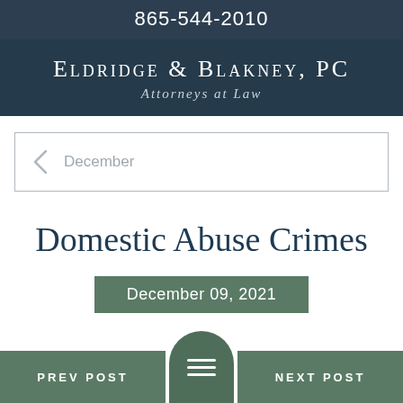865-544-2010
Eldridge & Blakney, PC
Attorneys at Law
December
Domestic Abuse Crimes
December 09, 2021
PREV POST
NEXT POST